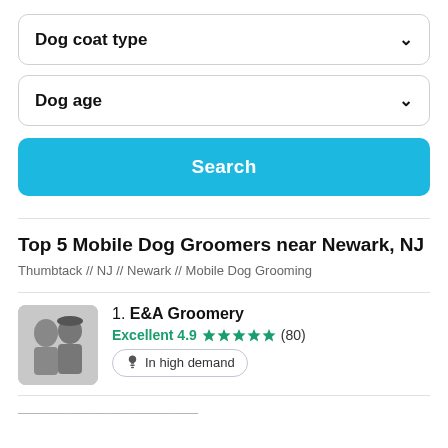Dog coat type
Dog age
Search
Top 5 Mobile Dog Groomers near Newark, NJ
Thumbtack // NJ // Newark // Mobile Dog Grooming
1. E&A Groomery
Excellent 4.9 ★★★★★ (80)
In high demand